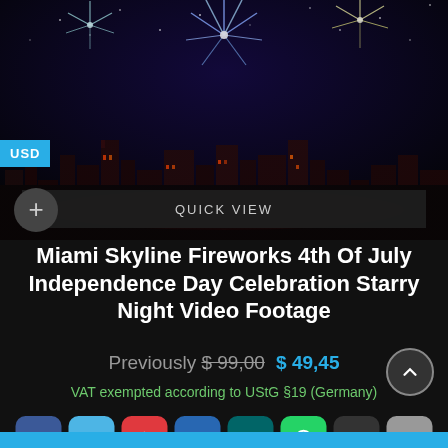[Figure (photo): Miami skyline fireworks at night with city lights reflected on water]
Miami Skyline Fireworks 4th Of July Independence Day Celebration Starry Night Video Footage
Previously $99,00  $ 49,45
VAT exempted according to UStG §19 (Germany)